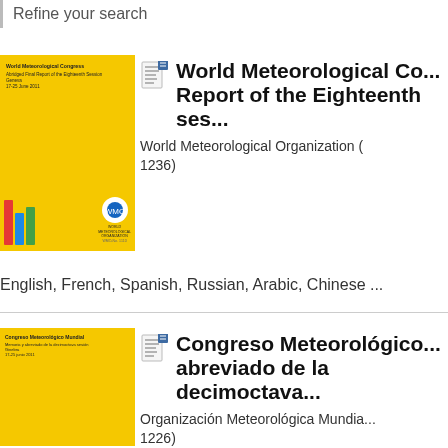Refine your search
[Figure (illustration): Yellow book cover thumbnail for World Meteorological Congress report]
World Meteorological Co... Report of the Eighteenth ses... World Meteorological Organization (... 1236)
English, French, Spanish, Russian, Arabic, Chinese ...
[Figure (illustration): Yellow book cover thumbnail for Congreso Meteorológico Mundial]
Congreso Meteorológico... abreviado de la decimoctava... Organización Meteorológica Mundia... 1226)